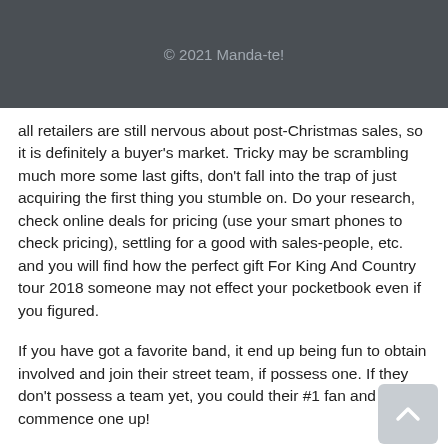© 2021 Manda-te!
all retailers are still nervous about post-Christmas sales, so it is definitely a buyer's market. Tricky may be scrambling much more some last gifts, don't fall into the trap of just acquiring the first thing you stumble on. Do your research, check online deals for pricing (use your smart phones to check pricing), settling for a good with sales-people, etc. and you will find how the perfect gift For King And Country tour 2018 someone may not effect your pocketbook even if you figured.
If you have got a favorite band, it end up being fun to obtain involved and join their street team, if possess one. If they don't possess a team yet, you could their #1 fan and commence one up!